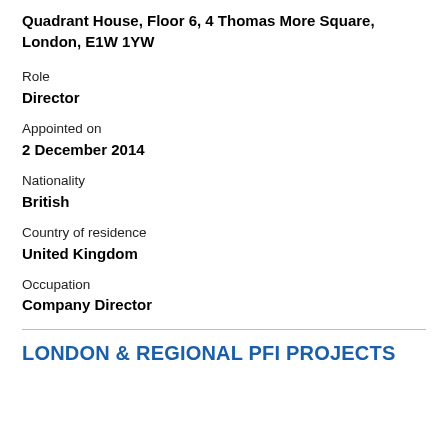Quadrant House, Floor 6, 4 Thomas More Square, London, E1W 1YW
Role
Director
Appointed on
2 December 2014
Nationality
British
Country of residence
United Kingdom
Occupation
Company Director
LONDON & REGIONAL PFI PROJECTS